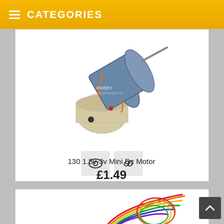CATEGORIES
[Figure (photo): 130 1.5v-3v Mini DC Motor product photo showing a small blue cylindrical DC motor with a gear/plastic housing. Watermark 'HOBBY COMPONENTS' visible on the image.]
130 1.5v-3v Mini Dc Motor
£1.49
[Figure (photo): Partial product photo showing colorful ribbon wires/cables on a small circuit board, partially visible at bottom of page.]